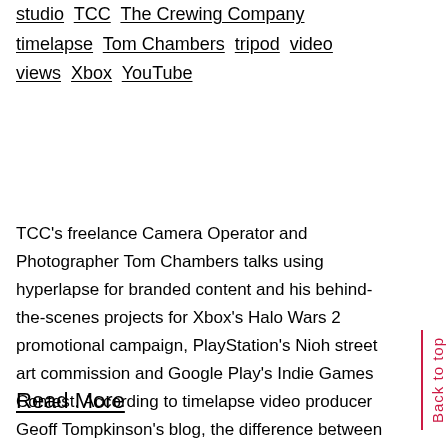studio TCC The Crewing Company timelapse Tom Chambers tripod video views Xbox YouTube
TCC's freelance Camera Operator and Photographer Tom Chambers talks using hyperlapse for branded content and his behind-the-scenes projects for Xbox's Halo Wars 2 promotional campaign, PlayStation's Nioh street art commission and Google Play's Indie Games Contest. According to timelapse video producer Geoff Tompkinson's blog, the difference between a timelapse and …
Read More